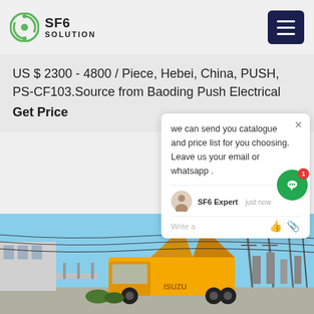SF6 SOLUTION
US $ 2300 - 4800 / Piece, Hebei, China, PUSH, PS-CF103.Source from Baoding Push Electrical
Get Price
we can send you catalogue and price list for you choosing.
Leave us your email or whatsapp .
SF6 Expert   just now
Write a
[Figure (photo): Yellow ISUZU truck with open panels parked near an electrical substation with power lines and transmission towers, under a clear blue sky.]